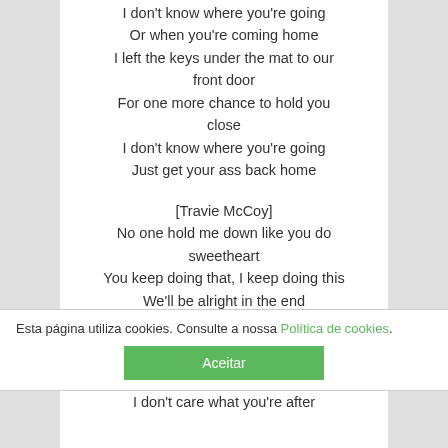I don't know where you're going
Or when you're coming home
I left the keys under the mat to our front door
For one more chance to hold you close
I don't know where you're going
Just get your ass back home
[Travie McCoy]
No one hold me down like you do sweetheart
You keep doing that, I keep doing this
We'll be alright in the end
Trust that
We put the us in trust, baby
Esta página utiliza cookies. Consulte a nossa Política de cookies.
Aceitar
I don't care what you're after